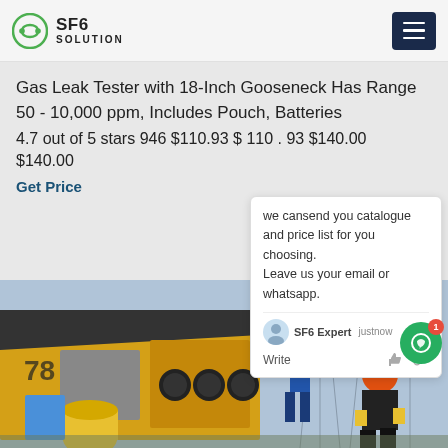SF6 SOLUTION
Gas Leak Tester with 18-Inch Gooseneck Has Range 50 - 10,000 ppm, Includes Pouch, Batteries 4.7 out of 5 stars 946 $110.93 $ 110 . 93 $140.00 $140.00
Get Price
we cansend you catalogue and price list for you choosing. Leave us your email or whatsapp.
SF6 Expert   justnow
Write
[Figure (photo): Workers operating yellow industrial SF6 gas equipment at an electrical substation with transmission towers in background]